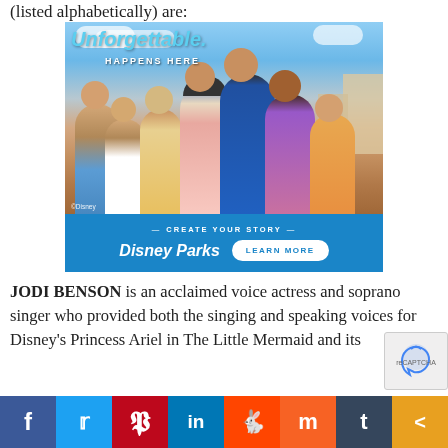(listed alphabetically) are:
[Figure (photo): Disney Parks advertisement showing a family of happy people at a Disney park, with text 'Unforgettable. Happens Here', '© Disney', 'Create Your Story', 'Disney Parks', and a 'Learn More' button]
JODI BENSON is an acclaimed voice actress and soprano singer who provided both the singing and speaking voices for Disney's Princess Ariel in The Little Mermaid and its
[Figure (other): reCAPTCHA widget in bottom right corner]
f  t  p  in  reddit  m  t  share (social sharing bar)